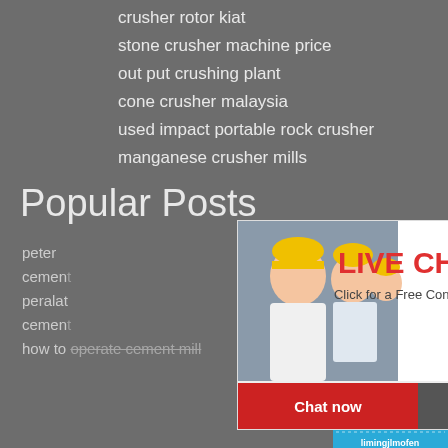crusher rotor kiat
stone crusher machine price
out put crushing plant
cone crusher malaysia
used impact portable rock crusher
manganese crusher mills
Popular Posts
peter
cement
peralat
cement
how to operate cement mill
[Figure (screenshot): Live chat popup overlay with woman wearing hard hat, 'LIVE CHAT' heading in red, 'Click for a Free Consultation' subtext, 'Chat now' red button and 'Chat later' dark button]
[Figure (screenshot): Right-side blue panel showing 'hour online', crusher machine image, 'Click me to chat>>' button, 'Enquiry' text, and 'limingjlmofen' text]